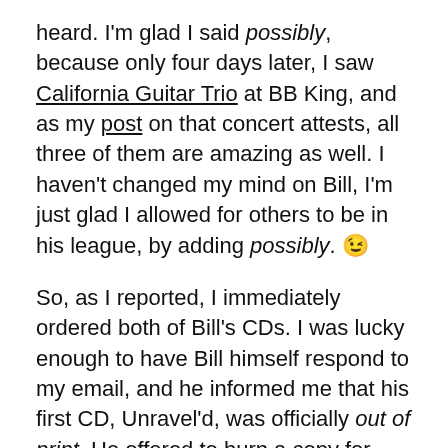heard. I'm glad I said possibly, because only four days later, I saw California Guitar Trio at BB King, and as my post on that concert attests, all three of them are amazing as well. I haven't changed my mind on Bill, I'm just glad I allowed for others to be in his league, by adding possibly. 😉
So, as I reported, I immediately ordered both of Bill's CDs. I was lucky enough to have Bill himself respond to my email, and he informed me that his first CD, Unravel'd, was officially out of print. He offered to burn a copy for me, and he also had the original artwork for the CD cover, so I would be getting nearly the same experience as purchasing the original CD. (Yes, folks, I paid for that, so don't think Bill is or should be giving anything away!).